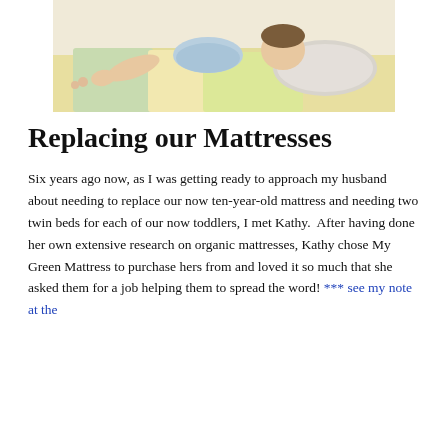[Figure (photo): A young child lying on a bed with yellow bedding and a pillow, wearing a light blue outfit, appearing to be sleeping or resting.]
Replacing our Mattresses
Six years ago now, as I was getting ready to approach my husband about needing to replace our now ten-year-old mattress and needing two twin beds for each of our now toddlers, I met Kathy.  After having done her own extensive research on organic mattresses, Kathy chose My Green Mattress to purchase hers from and loved it so much that she asked them for a job helping them to spread the word! *** see my note at the end of this post for a new coupon code and